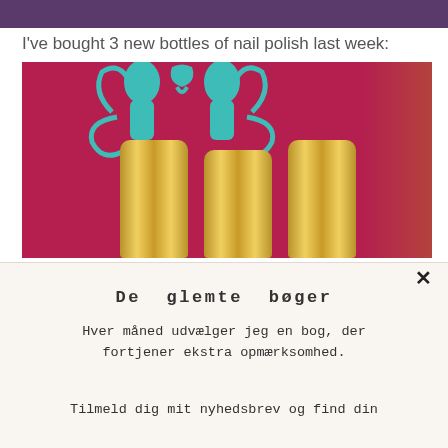[Figure (photo): Top purple/dark banner strip at the top of the page]
I've bought 3 new bottles of nail polish last week:
[Figure (photo): Photo of three gold/metallic nail polish bottles standing against a red wall decorated with teal and white ornamental figures]
×
De glemte bøger
Hver måned udvælger jeg en bog, der fortjener ekstra opmærksomhed.
Tilmeld dig mit nyhedsbrev og find din